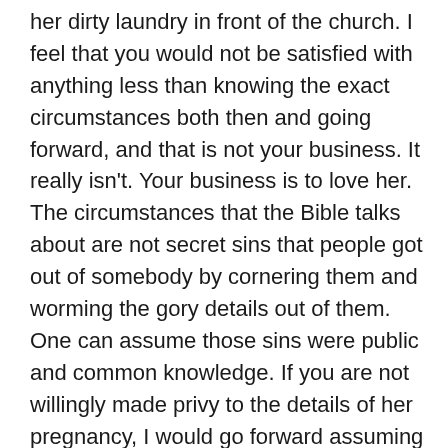her dirty laundry in front of the church. I feel that you would not be satisfied with anything less than knowing the exact circumstances both then and going forward, and that is not your business. It really isn't. Your business is to love her. The circumstances that the Bible talks about are not secret sins that people got out of somebody by cornering them and worming the gory details out of them. One can assume those sins were public and common knowledge. If you are not willingly made privy to the details of her pregnancy, I would go forward assuming that is because you do not need to know. She does not need to confess to you. If she has sinned, she needs to repent. But that should be voluntary, not coerced, and unless you know the exact circumstances, your distancing yourself based on how you ASSUME things went down is very, very